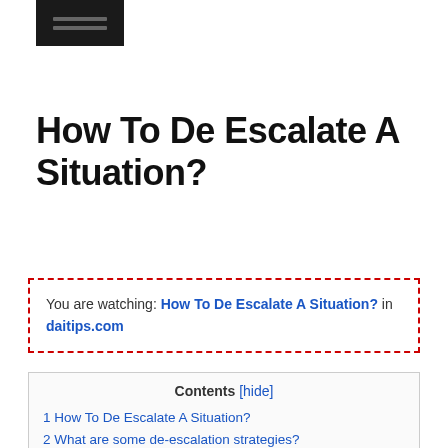[Figure (logo): Dark rectangular logo with two horizontal lines]
How To De Escalate A Situation?
You are watching: How To De Escalate A Situation? in daitips.com
Contents [hide]
1 How To De Escalate A Situation?
2 What are some de-escalation strategies?